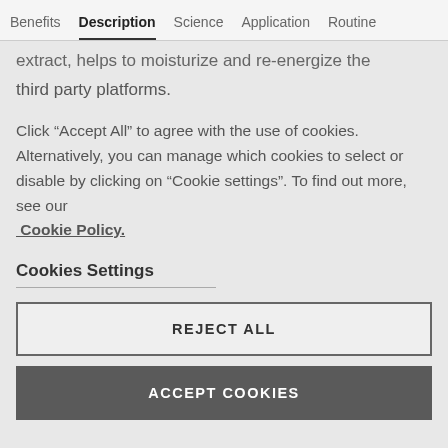Benefits  Description  Science  Application  Routine
extract, helps to moisturize and re-energize the
third party platforms.
Click “Accept All” to agree with the use of cookies. Alternatively, you can manage which cookies to select or disable by clicking on “Cookie settings”. To find out more, see our Cookie Policy.
Cookies Settings
REJECT ALL
ACCEPT COOKIES